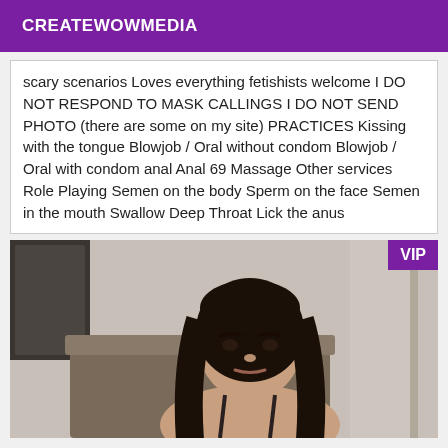CREATEWOWMEDIA
scary scenarios Loves everything fetishists welcome I DO NOT RESPOND TO MASK CALLINGS I DO NOT SEND PHOTO (there are some on my site) PRACTICES Kissing with the tongue Blowjob / Oral without condom Blowjob / Oral with condom anal Anal 69 Massage Other services Role Playing Semen on the body Sperm on the face Semen in the mouth Swallow Deep Throat Lick the anus
[Figure (photo): Woman with long dark hair seated, with VIP badge overlay in purple]